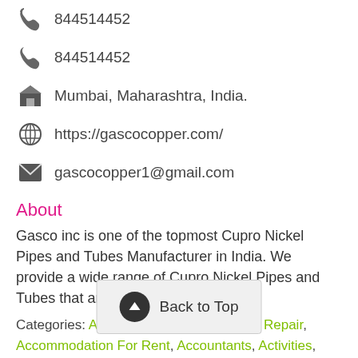844514452
844514452
Mumbai, Maharashtra, India.
https://gascocopper.com/
gascocopper1@gmail.com
About
Gasco inc is one of the topmost Cupro Nickel Pipes and Tubes Manufacturer in India. We provide a wide range of Cupro Nickel Pipes and Tubes that are highly prai...Read more
Categories: Access Equipment, Accident Repair, Accommodation For Rent, Accountants, Activities, Activity Club, Actors, Actuaries, Acupuncture, Administration, Advertising Agencies, Adv..., Advocates/La..., Agricultural & Horticultural Supplies, Agricultural Buildings,